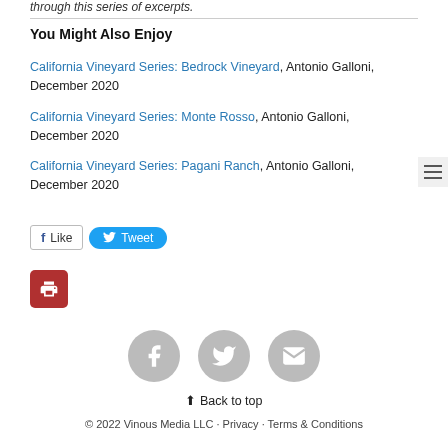through this series of excerpts.
You Might Also Enjoy
California Vineyard Series: Bedrock Vineyard, Antonio Galloni, December 2020
California Vineyard Series: Monte Rosso, Antonio Galloni, December 2020
California Vineyard Series: Pagani Ranch, Antonio Galloni, December 2020
© 2022 Vinous Media LLC · Privacy · Terms & Conditions